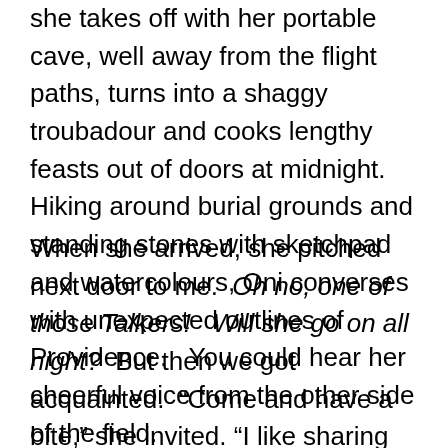she takes off with her portable cave, well away from the flight paths, turns into a shaggy troubadour and cooks lengthy feasts out of doors at midnight.  Hiking around burial grounds and standing stones with sketchpad and watercolours, Oni converses with unexpected outlines of Providence.   You could hear her cheerful voice from the other side of the field.
When she arrived, she pitched next door to me.  Oh no, one of those Talkers!   Will she go on all night?  But then we got acquainted.  “Come and have a bite,” she invited. “I like sharing things.”  And a gale of anecdotes and escapades flowed forth from this scamp:  a kindred spirit.  We quickly found our mutual affinities – to hang out!  Make no plans!  Travel alone and meet everyone!  Follow the weather, that trail of the unexpected which delivers up a